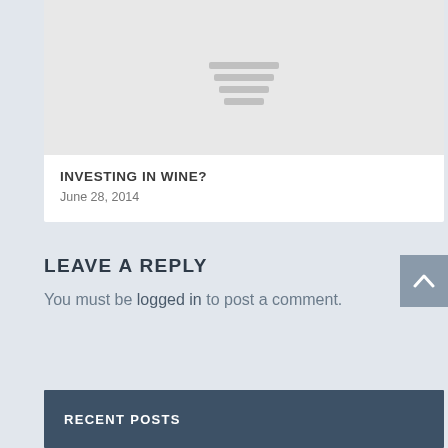[Figure (illustration): Gray placeholder image with horizontal lines in the center representing a text/image placeholder]
INVESTING IN WINE?
June 28, 2014
LEAVE A REPLY
You must be logged in to post a comment.
RECENT POSTS